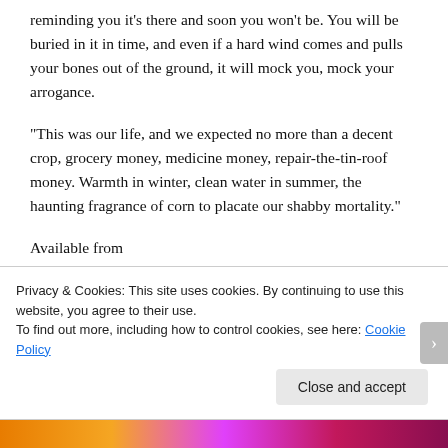reminding you it’s there and soon you won’t be. You will be buried in it in time, and even if a hard wind comes and pulls your bones out of the ground, it will mock you, mock your arrogance.
“This was our life, and we expected no more than a decent crop, grocery money, medicine money, repair-the-tin-roof money. Warmth in winter, clean water in summer, the haunting fragrance of corn to placate our shabby mortality.”
Available from
Amazon: http://www.amazon.com/dp/B01A4YRM5C
Privacy & Cookies: This site uses cookies. By continuing to use this website, you agree to their use.
To find out more, including how to control cookies, see here: Cookie Policy
Close and accept